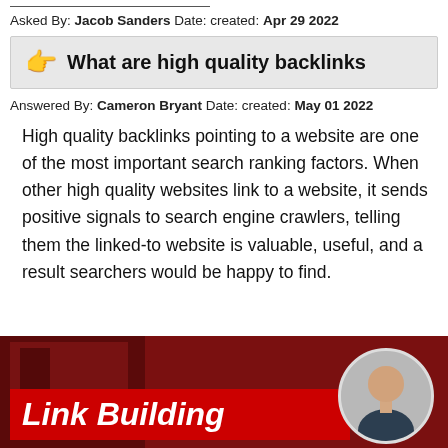Asked By: Jacob Sanders Date: created: Apr 29 2022
What are high quality backlinks
Answered By: Cameron Bryant Date: created: May 01 2022
High quality backlinks pointing to a website are one of the most important search ranking factors. When other high quality websites link to a website, it sends positive signals to search engine crawlers, telling them the linked-to website is valuable, useful, and a result searchers would be happy to find.
[Figure (photo): Banner image with dark red background showing 'Link Building' text in bold italic white on a red label, with a circular avatar photo of a man on the right side]